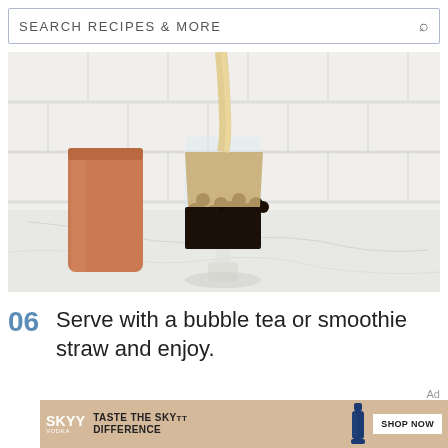SEARCH RECIPES & MORE
[Figure (photo): A glass of bubble tea (boba tea) with dark tapioca pearls and creamy tea being poured in, next to a copper cocktail shaker on a marble surface, with white subway tile backsplash behind.]
06  Serve with a bubble tea or smoothie straw and enjoy.
Ad
[Figure (photo): SKYY Vodka advertisement banner: SKYY logo on left, 'TASTE THE SKYY DIFFERENCE' text in center, SKYY bottle image, 'SHOP NOW' button on right, citrus fruit imagery.]